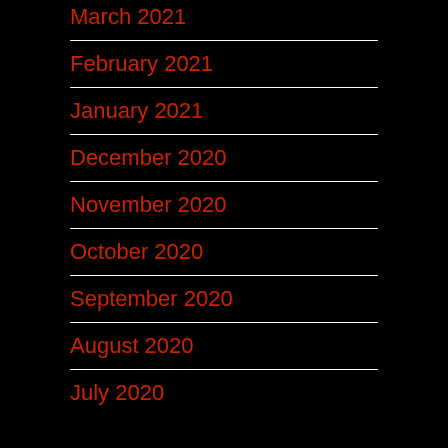March 2021
February 2021
January 2021
December 2020
November 2020
October 2020
September 2020
August 2020
July 2020